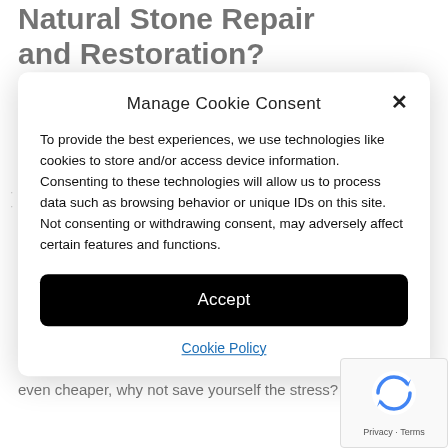Natural Stone Repair and Restoration?
even cheaper, why not save yourself the stress?
Manage Cookie Consent
To provide the best experiences, we use technologies like cookies to store and/or access device information. Consenting to these technologies will allow us to process data such as browsing behavior or unique IDs on this site. Not consenting or withdrawing consent, may adversely affect certain features and functions.
Accept
Cookie Policy
[Figure (logo): Google reCAPTCHA badge with spinning arrows logo icon and Privacy · Terms text]